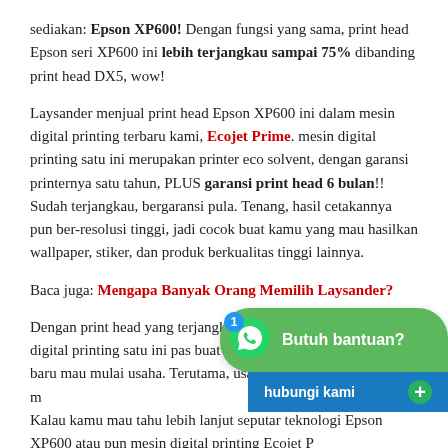sediakan: Epson XP600! Dengan fungsi yang sama, print head Epson seri XP600 ini lebih terjangkau sampai 75% dibanding print head DX5, wow!
Laysander menjual print head Epson XP600 ini dalam mesin digital printing terbaru kami, Ecojet Prime. mesin digital printing satu ini merupakan printer eco solvent, dengan garansi printernya satu tahun, PLUS garansi print head 6 bulan!! Sudah terjangkau, bergaransi pula. Tenang, hasil cetakannya pun ber-resolusi tinggi, jadi cocok buat kamu yang mau hasilkan wallpaper, stiker, dan produk berkualitas tinggi lainnya.
Baca juga: Mengapa Banyak Orang Memilih Laysander?
Dengan print head yang terjangkau dan bergaransi pula, mesin digital printing satu ini pas buat kamu yang baru mau mulai usaha. Terutama, usaha cetak sticker menjadi pilihan. Kalau kamu mau tahu lebih lanjut seputar teknologi Epson XP600 atau pun mesin digital printing Ecojet P... hubungi kami!
[Figure (other): WhatsApp chat widget overlay with green bubble showing WhatsApp icon, badge '1', and text 'Butuh bantuan?', plus a blue footer bar with 'hubungi kami' and a green plus button.]